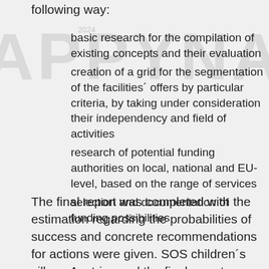following way:
basic research for the compilation of existing concepts and their evaluation
creation of a grid for the segmentation of the facilities´ offers by particular criteria, by taking under consideration their independency and field of activities
research of potential funding authorities on local, national and EU-level, based on the range of services
selection and documentation of funding possibilities
The final report was completed with the estimation regarding the probabilities of success and concrete recommendations for actions were given. SOS children´s village Austria used the final report as basis for